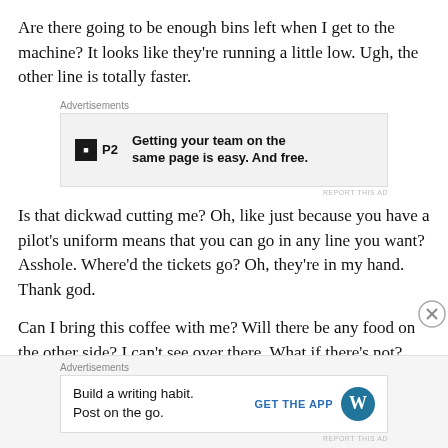Are there going to be enough bins left when I get to the machine? It looks like they're running a little low. Ugh, the other line is totally faster.
[Figure (other): Advertisement banner for P2: 'Getting your team on the same page is easy. And free.']
Is that dickwad cutting me? Oh, like just because you have a pilot's uniform means that you can go in any line you want? Asshole. Where'd the tickets go? Oh, they're in my hand. Thank god.
Can I bring this coffee with me? Will there be any food on the other side? I can't see over there. What if there's not?
[Figure (other): Advertisement banner for WordPress: 'Build a writing habit. Post on the go.' with 'GET THE APP' button and WordPress logo.]